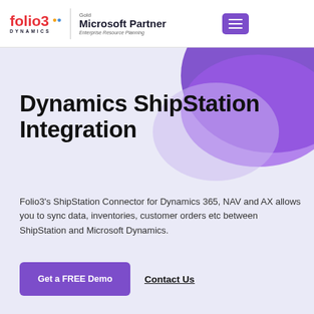[Figure (logo): Folio3 Dynamics logo with red and orange/blue text, and Microsoft Gold Partner Enterprise Resource Planning badge]
Dynamics ShipStation Integration
Folio3's ShipStation Connector for Dynamics 365, NAV and AX allows you to sync data, inventories, customer orders etc between ShipStation and Microsoft Dynamics.
Get a FREE Demo
Contact Us